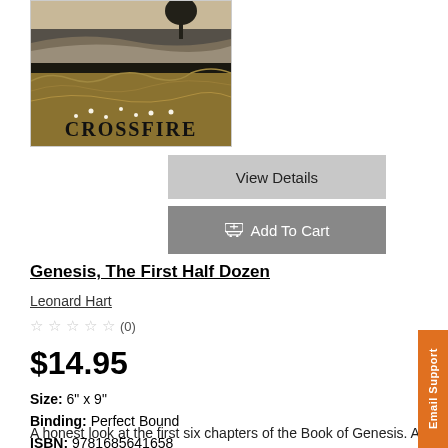[Figure (illustration): Book cover for Crossfire showing a landscape with fields, layered gray/brown hills, a tree silhouette, and the word CROSSFIRE in bold serif letters at the bottom]
View Details
Add To Cart
Genesis, The First Half Dozen
Leonard Hart
☆☆☆☆☆ (0)
$14.95
Size: 6" x 9"
Binding: Perfect Bound
ISBN: 9781685641658
A honest look at the first six chapters of the Book of Genesis. A